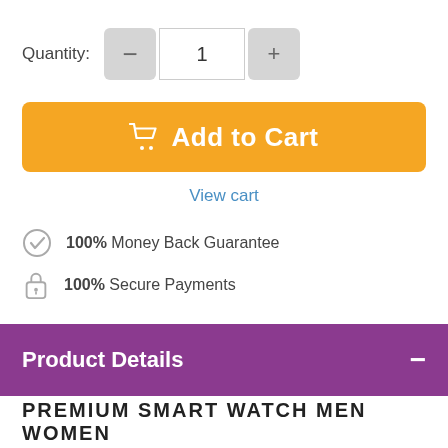Quantity: 1
[Figure (other): Add to Cart button with shopping cart icon, golden/amber background, white text]
View cart
100% Money Back Guarantee
100% Secure Payments
Product Details
PREMIUM SMART WATCH MEN WOMEN